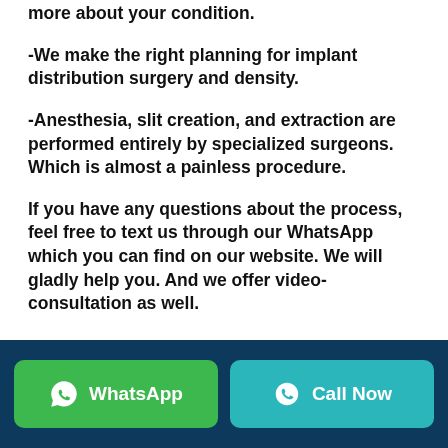more about your condition.
-We make the right planning for implant distribution surgery and density.
-Anesthesia, slit creation, and extraction are performed entirely by specialized surgeons. Which is almost a painless procedure.
If you have any questions about the process, feel free to text us through our WhatsApp which you can find on our website. We will gladly help you. And we offer video-consultation as well.
WhatsApp  Call Now